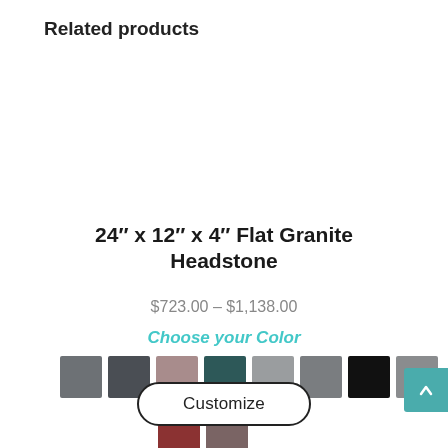Related products
24″ x 12″ x 4″ Flat Granite Headstone
$723.00 – $1,138.00
Choose your Color
[Figure (illustration): Color swatches for granite headstone: 10 color options arranged in two rows (row 1: dark gray, charcoal, mauve/pink, dark teal, light gray, medium gray, black, light gray; row 2: dark red/burgundy, dark mauve/brown)]
Customize